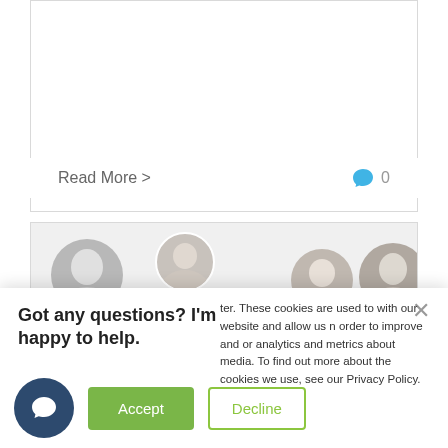[Figure (screenshot): Top card area with white background and border, showing a 'Read More >' link on the left and a speech bubble icon with '0' comment count on the right]
Read More >
[Figure (screenshot): Second card strip with light gray background showing partial profile photo avatars in a row]
[Figure (screenshot): Cookie consent popup overlay with chat widget. Text: 'Got any questions? I'm happy to help.' on left, and cookie policy text on right: 'ter. These cookies are used to with our website and allow us n order to improve and or analytics and metrics about media. To find out more about the cookies we use, see our Privacy Policy.' Buttons: Accept (green) and Decline (outlined green). Chat launcher icon (dark navy circle with speech bubble) on bottom left.]